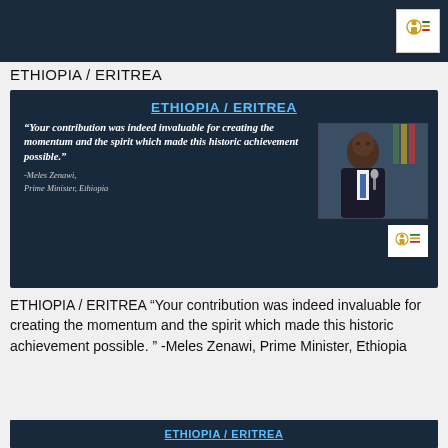ETHIOPIA / ERITREA
[Figure (screenshot): Dark navy slide with title 'ETHIOPIA / ERITREA' in blue underlined text, a large italic quote from Meles Zenawi and a photo of him on the right, with a logo in bottom-right corner.]
ETHIOPIA / ERITREA “Your contribution was indeed invaluable for creating the momentum and the spirit which made this historic achievement possible. ” -Meles Zenawi, Prime Minister, Ethiopia
[Figure (screenshot): Partial dark navy slide showing 'ETHIOPIA / ERITREA' title in blue underlined text at bottom of page.]